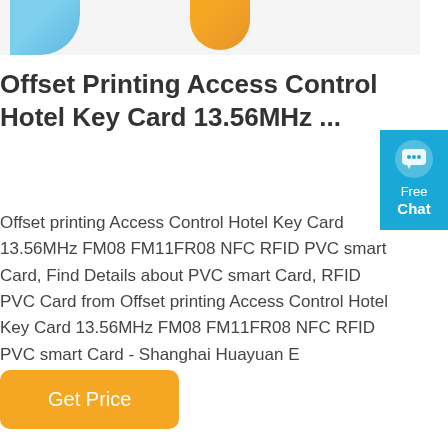[Figure (photo): Partial product images at the top of the page, showing colored blob/card shapes in blue and orange.]
Offset Printing Access Control Hotel Key Card 13.56MHz ...
Offset printing Access Control Hotel Key Card 13.56MHz FM08 FM11FR08 NFC RFID PVC smart Card, Find Details about PVC smart Card, RFID PVC Card from Offset printing Access Control Hotel Key Card 13.56MHz FM08 FM11FR08 NFC RFID PVC smart Card - Shanghai Huayuan E
[Figure (illustration): Free Chat widget button in cyan/blue with a speech bubble icon, 'Free' and 'Chat' text.]
Get Price